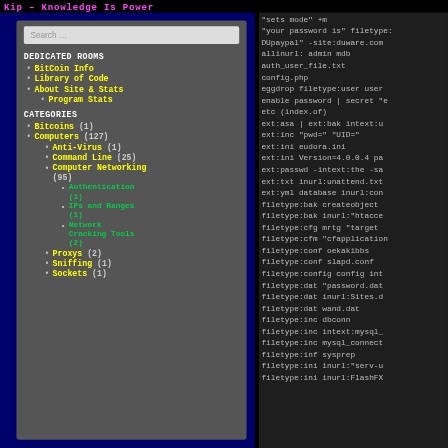Kip – Knowledge Is Power
Search …
DEDICATED ROOMS
BitCoin Info
Library of Code
About Site & Stats
Program Stats
CATEGORIES
Bitcoins (1)
Computers (127)
Anti-Virus (1)
Command Line (25)
Computer Networking (95)
Authentication (1)
IPs and Ranges (1)
Network Cracking Tools (2)
Proxys (2)
Sniffing (1)
Sockets (1)
"sets mode" +m
"your password is" filetype:
DUpaypal" -site:duware.com
allinurl: admin mdb
auth_user_file.txt
config.php
eggdrop filetype:user user
enable password | secret "e
etc (index.of)
ext:asa | ext:bak intext:u
ext:inc "pwd=" "UID="
ext:ini eudora.ini
ext:ini Version=4.0.0.4 pa
ext:passwd -intext:the -sa
ext:txt inurl:unattend.txt
ext:yml database inurl:con
filetype:bak createobject
filetype:bak inurl:"htacce
filetype:cfg mrtg "target
filetype:cfm "cfapplication
filetype:conf oekakibbs
filetype:conf slapd.conf
filetype:config config int
filetype:dat "password.dat
filetype:dat inurl:Sites.d
filetype:dat wand.dat
filetype:inc dbconn
filetype:inc intext:mysql_
filetype:inc mysql_connect
filetype:inf sysprep
filetype:ini inurl:"serv-u
filetype:ini inurl:FlashFX